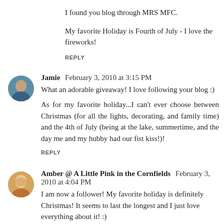I found you blog through MRS MFC.
My favorite Holiday is Fourth of July - I love the fireworks!
REPLY
Jamie  February 3, 2010 at 3:15 PM
What an adorable giveaway! I love following your blog :)
As for my favorite holiday...I can't ever choose between Christmas (for all the lights, decorating, and family time) and the 4th of July (being at the lake, summertime, and the day me and my hubby had our fist kiss!)!
REPLY
Amber @ A Little Pink in the Cornfields  February 3, 2010 at 4:04 PM
I am now a follower! My favorite holiday is definitely Christmas! It seems to last the longest and I just love everything about it! :)
REPLY